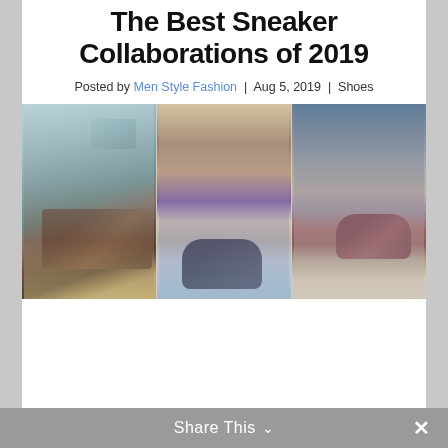The Best Sneaker Collaborations of 2019
Posted by Men Style Fashion | Aug 5, 2019 | Shoes
[Figure (photo): Three-panel photo collage of sneakers: left panel shows shoes on a striped surface by water; center panel shows two people standing on a beach with sneakers; right panel shows person sitting on rocks with sneakers.]
Share This ∨  ✕